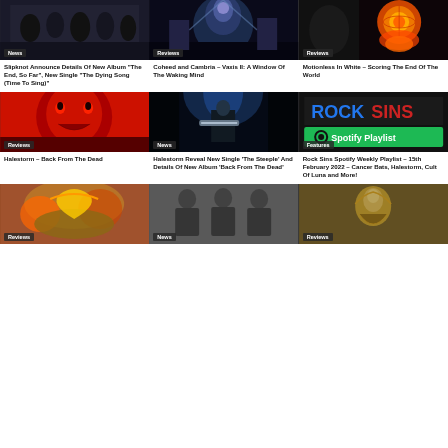[Figure (photo): Slipknot band photo - dark group shot with masks]
News
[Figure (photo): Coheed and Cambria Vaxis II album art - sci-fi figure in blue light]
Reviews
[Figure (photo): Motionless In White album art - globe with fire]
Reviews
Slipknot Announce Details Of New Album "The End, So Far", New Single "The Dying Song (Time To Sing)"
Coheed and Cambria – Vaxis II: A Window Of The Waking Mind
Motionless In White – Scoring The End Of The World
[Figure (photo): Halestorm Back From The Dead album art - red demonic face]
Reviews
[Figure (photo): Halestorm live photo - guitarist on stage with blue lighting]
News
[Figure (photo): Rock Sins Spotify Playlist graphic with logo]
Features
Halestorm – Back From The Dead
Halestorm Reveal New Single 'The Steeple' And Details Of New Album 'Back From The Dead'
Rock Sins Spotify Weekly Playlist – 15th February 2022 – Cancer Bats, Halestorm, Cult Of Luna and More!
[Figure (photo): Fantasy battle album art - colorful epic scene]
Reviews
[Figure (photo): Band photo - three men in black t-shirts]
News
[Figure (photo): Album art - ornate gold figure]
Reviews